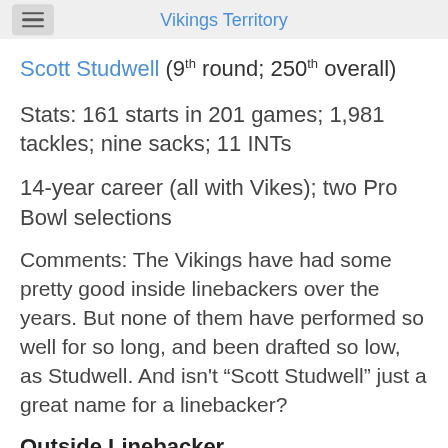Vikings Territory
Scott Studwell (9th round; 250th overall)
Stats: 161 starts in 201 games; 1,981 tackles; nine sacks; 11 INTs
14-year career (all with Vikes); two Pro Bowl selections
Comments: The Vikings have had some pretty good inside linebackers over the years. But none of them have performed so well for so long, and been drafted so low, as Studwell. And isn’t “Scott Studwell” just a great name for a linebacker?
Outside Linebacker